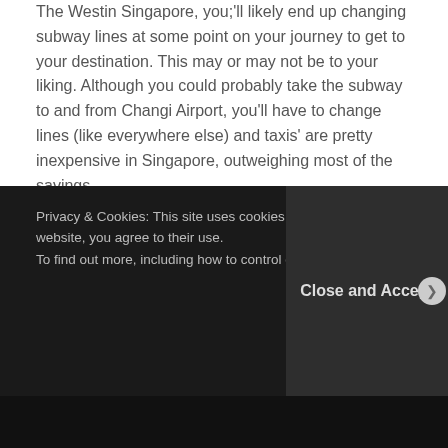The Westin Singapore, you;'ll likely end up changing subway lines at some point on your journey to get to your destination. This may or may not be to your liking. Although you could probably take the subway to and from Changi Airport, you'll have to change lines (like everywhere else) and taxis' are pretty inexpensive in Singapore, outweighing most of the savings.
Our stay experience with The Westin Singapore :
Privacy & Cookies: This site uses cookies. By cont… website, you agree to their use. To find out more, including how to control cookies…
Close and Accept